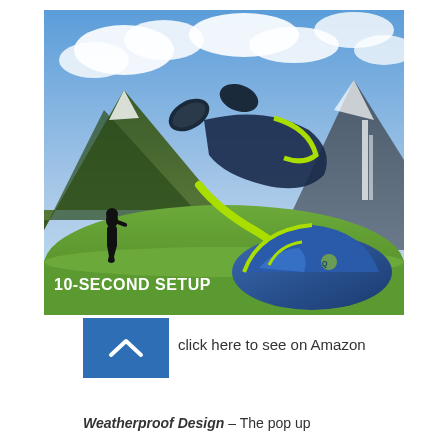[Figure (photo): A pop-up camping tent being thrown into the air by a person silhouette, set against a scenic mountain landscape with waterfalls. The tent is blue with yellow-green accents. A large yellow-green arrow shows the tent deploying. Text overlay reads '10-SECOND SETUP'.]
[Figure (other): Blue button with a white upward chevron/caret symbol, representing a clickable Amazon link.]
click here to see on Amazon
Weatherproof Design – The pop up